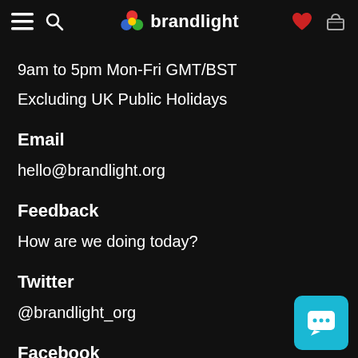brandlight navigation bar with menu, search, logo, heart and basket icons
9am to 5pm Mon-Fri GMT/BST
Excluding UK Public Holidays
Email
hello@brandlight.org
Feedback
How are we doing today?
Twitter
@brandlight_org
Facebook